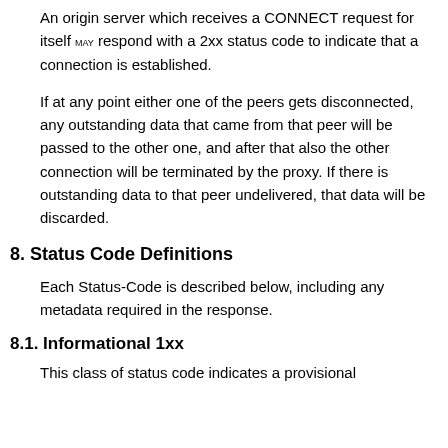An origin server which receives a CONNECT request for itself MAY respond with a 2xx status code to indicate that a connection is established.
If at any point either one of the peers gets disconnected, any outstanding data that came from that peer will be passed to the other one, and after that also the other connection will be terminated by the proxy. If there is outstanding data to that peer undelivered, that data will be discarded.
8. Status Code Definitions
Each Status-Code is described below, including any metadata required in the response.
8.1. Informational 1xx
This class of status code indicates a provisional